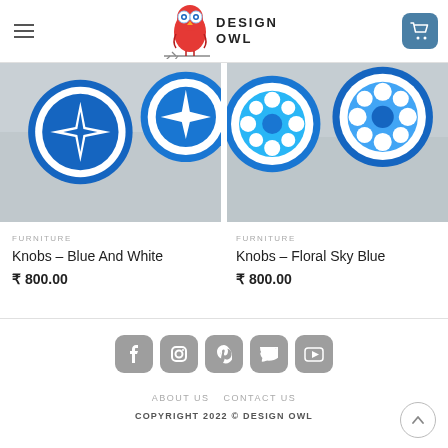Design Owl – navigation header with hamburger menu, logo, and cart button
[Figure (photo): Close-up photo of blue and white decorative knobs on a grey surface]
[Figure (photo): Close-up photo of floral sky blue decorative knobs on a grey surface]
FURNITURE
Knobs – Blue And White
₹ 800.00
FURNITURE
Knobs – Floral Sky Blue
₹ 800.00
ABOUT US   CONTACT US   COPYRIGHT 2022 © DESIGN OWL